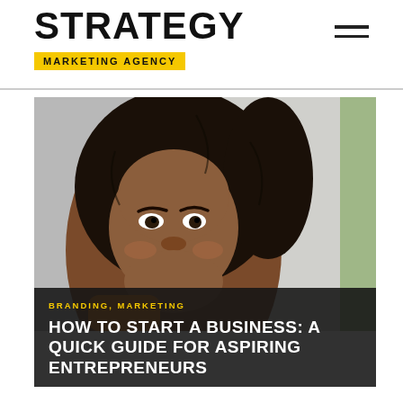STRATEGY MARKETING AGENCY
[Figure (photo): Close-up portrait of a smiling young Black woman with curly natural hair, holding something orange, with a blurred green background]
BRANDING, MARKETING
HOW TO START A BUSINESS: A QUICK GUIDE FOR ASPIRING ENTREPRENEURS